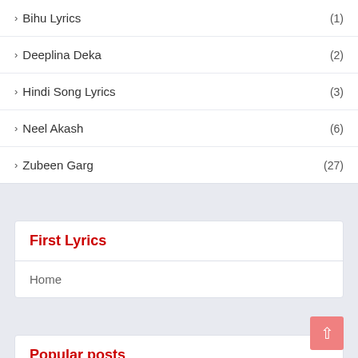Bihu Lyrics (1)
Deeplina Deka (2)
Hindi Song Lyrics (3)
Neel Akash (6)
Zubeen Garg (27)
First Lyrics
Home
Popular posts
ި޾ ް'ެ އެޜ ޔ޳ޭީ | Ki hobo ei jibon lyrics - Zubeen Garg